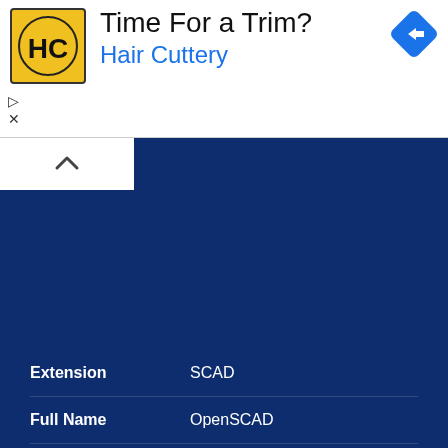[Figure (other): Advertisement banner for Hair Cuttery with logo, title 'Time For a Trim?', subtitle 'Hair Cuttery', navigation icon, and ad controls]
| Field | Value |
| --- | --- |
| Extension | SCAD |
| Full Name | OpenSCAD |
| Type | CAD |
| Mime Type | application/octet-stream |